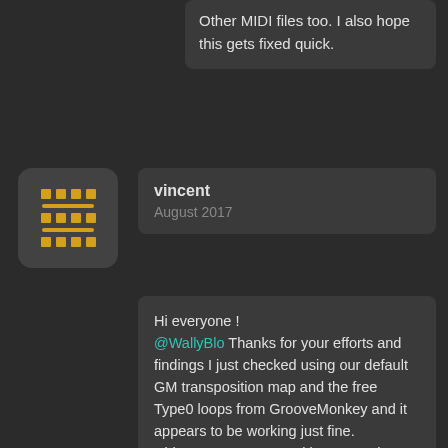Other MIDI files too. I also hope this gets fixed quick.
vincent
August 2017
Hi everyone !
@WallyBlo Thanks for your efforts and findings I just checked using our default GM transposition map and the free Type0 loops from GrooveMonkey and it appears to be working just fine.
Did you use a transposition map? the GM one is needed in that case. (Create a transposition map, hit GM to set the defaults, save and import).

Please also note that Type0 files will be translated to pads if the bank is in "PADS" mode, and to the selected pad mapping if "KEYS" mode is enabled.